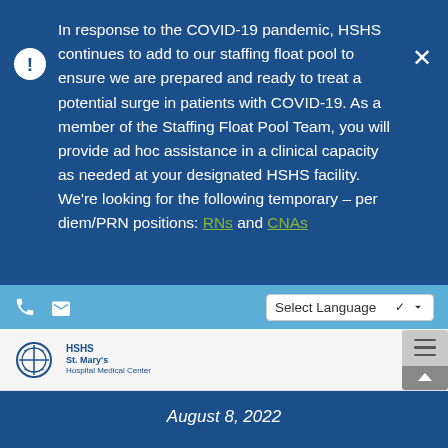In response to the COVID-19 pandemic, HSHS continues to add to our staffing float pool to ensure we are prepared and ready to treat a potential surge in patients with COVID-19. As a member of the Staffing Float Pool Team, you will provide ad hoc assistance in a clinical capacity as needed at your designated HSHS facility. We're looking for the following temporary – per diem/PRN positions: RNs and CNAs
[Figure (screenshot): Light blue toolbar with phone and email icons on left, and a 'Select Language' dropdown on the right]
[Figure (logo): HSHS St. Mary's Hospital Medical Center logo with circular emblem]
August 8, 2022
Hospital Sisters Health System (HSHS) hospitals are pleased to welcome Mary Salm to serve in a new role as Vice